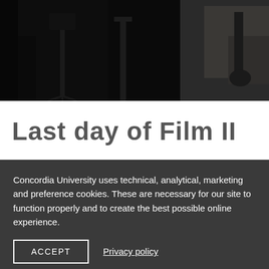[Figure (photo): Dark photograph showing film equipment including what appears to be camera rigs or stands in a dark studio setting, with some light visible in the background on the right side.]
Last day of Film II
Concordia University uses technical, analytical, marketing and preference cookies. These are necessary for our site to function properly and to create the best possible online experience.
ACCEPT   Privacy policy